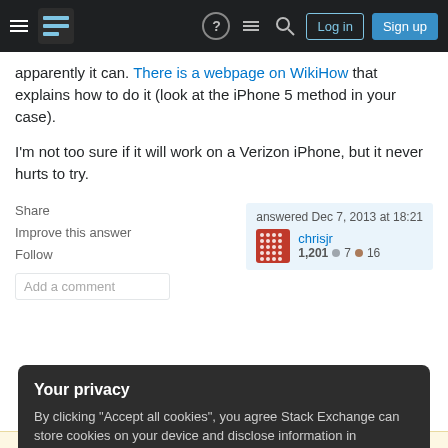Stack Exchange navigation bar with Log in and Sign up buttons
apparently it can. There is a webpage on WikiHow that explains how to do it (look at the iPhone 5 method in your case).
I'm not too sure if it will work on a Verizon iPhone, but it never hurts to try.
Share | Improve this answer | Follow | answered Dec 7, 2013 at 18:21 | chrisjr | 1,201 ●7 ●16 | Add a comment
Your privacy
By clicking "Accept all cookies", you agree Stack Exchange can store cookies on your device and disclose information in accordance with our Cookie Policy.